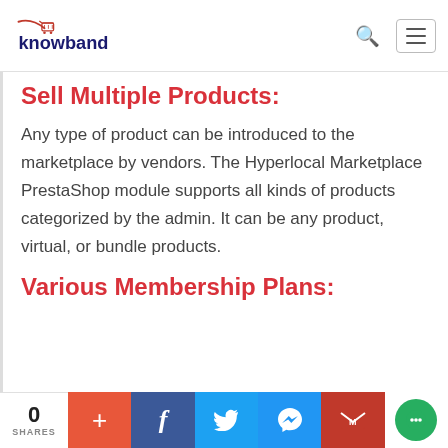Knowband logo, search icon, hamburger menu
Sell Multiple Products:
Any type of product can be introduced to the marketplace by vendors. The Hyperlocal Marketplace PrestaShop module supports all kinds of products categorized by the admin. It can be any product, virtual, or bundle products.
Various Membership Plans:
0 SHARES | + | f | Twitter | Messenger | M | chat